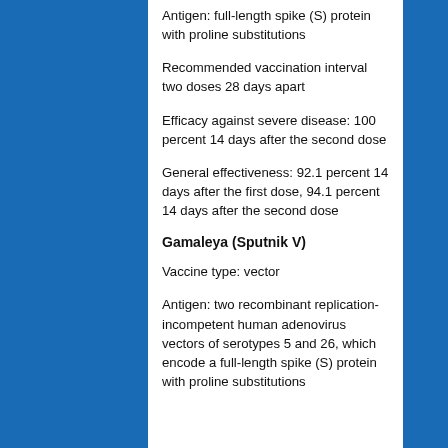Antigen: full-length spike (S) protein with proline substitutions
Recommended vaccination interval two doses 28 days apart
Efficacy against severe disease: 100 percent 14 days after the second dose
General effectiveness: 92.1 percent 14 days after the first dose, 94.1 percent 14 days after the second dose
Gamaleya (Sputnik V)
Vaccine type: vector
Antigen: two recombinant replication-incompetent human adenovirus vectors of serotypes 5 and 26, which encode a full-length spike (S) protein with proline substitutions